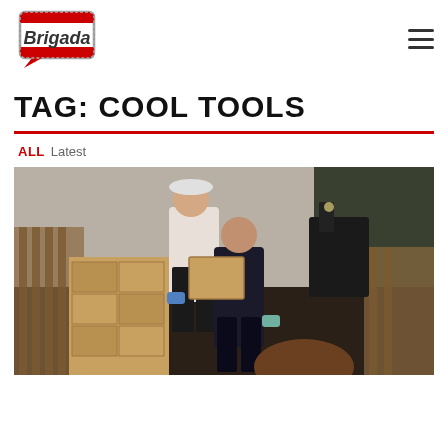[Figure (logo): Brigada logo with red and grey speech bubble icon and bold italic text 'Brigada']
TAG: COOL TOOLS
ALL Latest
[Figure (photo): People handling cardboard boxes, volunteering or working with food supplies outdoors]